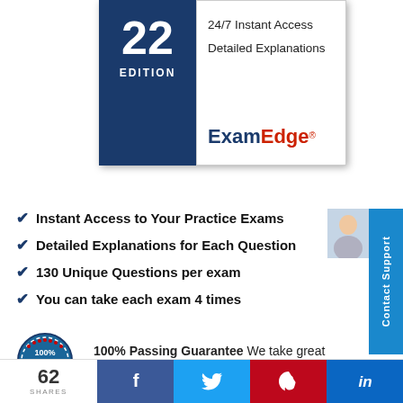[Figure (illustration): ExamEdge 22nd Edition practice exam book cover with dark blue left panel showing '22 EDITION' and white right panel showing '24/7 Instant Access', 'Detailed Explanations', and ExamEdge logo]
Instant Access to Your Practice Exams
Detailed Explanations for Each Question
130 Unique Questions per exam
You can take each exam 4 times
[Figure (photo): Person smiling in customer support context]
100% Passing Guarantee We take great pride in our practice tests and
[Figure (illustration): 100% Pass Guarantee badge/seal in blue and red]
62 SHARES
Social share buttons: Facebook, Twitter, Pinterest, LinkedIn